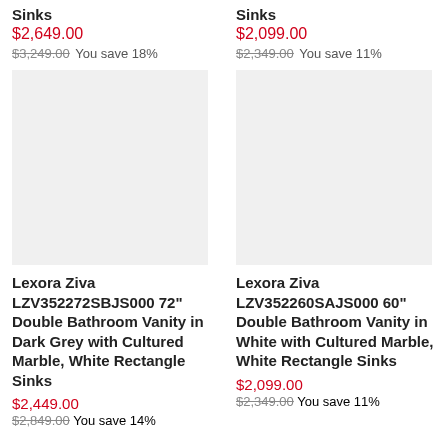Sinks
$2,649.00
$3,249.00 You save 18%
[Figure (photo): Product image placeholder for Lexora Ziva 72-inch double bathroom vanity in dark grey]
Lexora Ziva LZV352272SBJS000 72" Double Bathroom Vanity in Dark Grey with Cultured Marble, White Rectangle Sinks
$2,449.00
$2,849.00 You save 14%
Sinks
$2,099.00
$2,349.00 You save 11%
[Figure (photo): Product image placeholder for Lexora Ziva 60-inch double bathroom vanity in white]
Lexora Ziva LZV352260SAJS000 60" Double Bathroom Vanity in White with Cultured Marble, White Rectangle Sinks
$2,099.00
$2,349.00 You save 11%